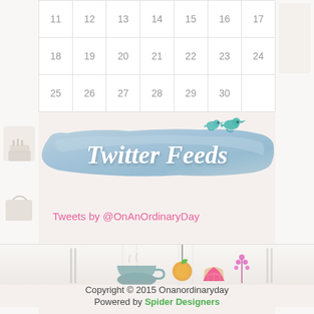| 11 | 12 | 13 | 14 | 15 | 16 | 17 |
| 18 | 19 | 20 | 21 | 22 | 23 | 24 |
| 25 | 26 | 27 | 28 | 29 | 30 |  |
[Figure (illustration): Twitter Feeds banner with watercolor blue brush stroke background, two teal birds perched on top, and cursive white text reading Twitter Feeds]
Tweets by @OnAnOrdinaryDay
[Figure (illustration): Decorative footer illustration band with kitchen/lifestyle items: teacup, cupcake, citrus fruit, floral sprigs, fork and knife, on a light striped background]
Copyright © 2015 Onanordinaryday
Powered by Spider Designers